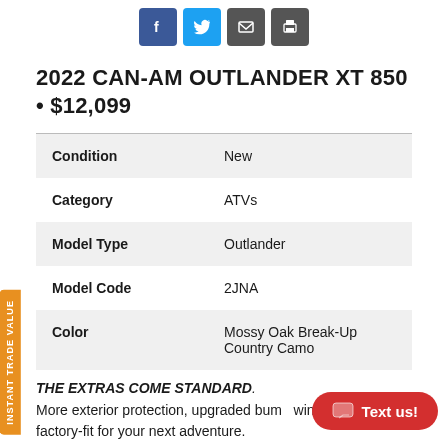[Figure (other): Social sharing icons: Facebook, Twitter, Email, Print]
2022 CAN-AM OUTLANDER XT 850 • $12,099
| Condition | New |
| Category | ATVs |
| Model Type | Outlander |
| Model Code | 2JNA |
| Color | Mossy Oak Break-Up Country Camo |
THE EXTRAS COME STANDARD. More exterior protection, upgraded bump winch ensure it's factory-fit for your next adventure.